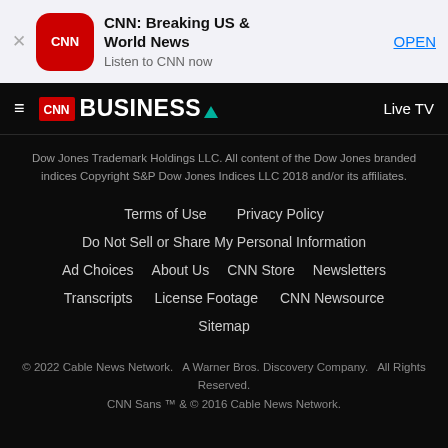[Figure (screenshot): CNN app banner with CNN icon, title 'CNN: Breaking US & World News', subtitle 'Listen to CNN now', and OPEN button]
CNN BUSINESS | Live TV
Dow Jones Trademark Holdings LLC. All content of the Dow Jones branded indices Copyright S&P Dow Jones Indices LLC 2018 and/or its affiliates.
Terms of Use
Privacy Policy
Do Not Sell or Share My Personal Information
Ad Choices
About Us
CNN Store
Newsletters
Transcripts
License Footage
CNN Newsource
Sitemap
© 2022 Cable News Network. A Warner Bros. Discovery Company. All Rights Reserved. CNN Sans ™ & © 2016 Cable News Network.